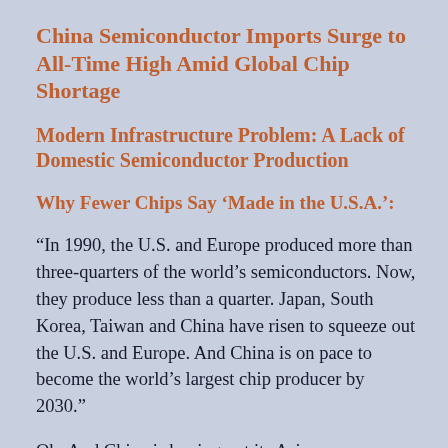China Semiconductor Imports Surge to All-Time High Amid Global Chip Shortage
Modern Infrastructure Problem: A Lack of Domestic Semiconductor Production
Why Fewer Chips Say ‘Made in the U.S.A.’:
“In 1990, the U.S. and Europe produced more than three-quarters of the world’s semiconductors. Now, they produce less than a quarter. Japan, South Korea, Taiwan and China have risen to squeeze out the U.S. and Europe. And China is on pace to become the world’s largest chip producer by 2030.”
Oh: And China is buying out its Asian